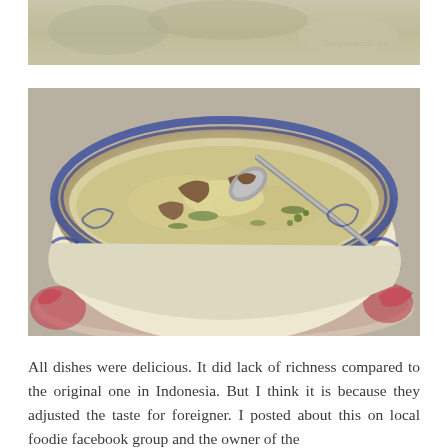[Figure (photo): Partial top photo strip showing a blurred background scene]
[Figure (photo): Close-up photo of a bowl of Indonesian soup (soto or similar) in a blue and white patterned ceramic bowl, with a spoon lifting meat and broth, garnished with green herbs, placed on a red floral plate. Watermark 'Tastymonials.me' in top right corner.]
All dishes were delicious. It did lack of richness compared to the original one in Indonesia. But I think it is because they adjusted the taste for foreigner. I posted about this on local foodie facebook group and the owner of the